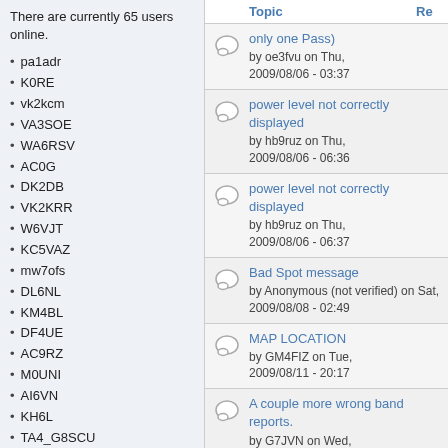There are currently 65 users online.
pa1adr
K0RE
vk2kcm
VA3SOE
WA6RSV
AC0G
DK2DB
VK2KRR
W6VJT
KC5VAZ
mw7ofs
DL6NL
KM4BL
DF4UE
AC9RZ
M0UNI
AI6VN
KH6L
TA4_G8SCU
DD2DM
EA7KMQ
G4LEN
DH0GFW
T61AA
| Topic | Re |
| --- | --- |
| only one Pass) by oe3fvu on Thu, 2009/08/06 - 03:37 |  |
| power level not correctly displayed by hb9ruz on Thu, 2009/08/06 - 06:36 |  |
| power level not correctly displayed by hb9ruz on Thu, 2009/08/06 - 06:37 |  |
| Bad Spot message by Anonymous (not verified) on Sat, 2009/08/08 - 02:49 |  |
| MAP LOCATION by GM4FIZ on Tue, 2009/08/11 - 20:17 |  |
| A couple more wrong band reports. by G7JVN on Wed, 2009/08/12 - 06:59 |  |
| Wrong band report |  |